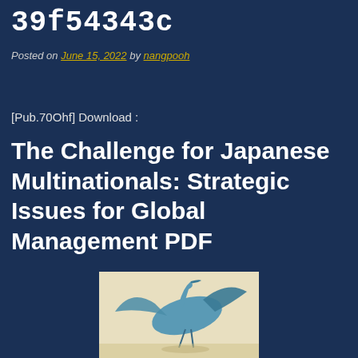39f54343c
Posted on June 15, 2022 by nangpooh
[Pub.70Ohf] Download :
The Challenge for Japanese Multinationals: Strategic Issues for Global Management PDF
[Figure (photo): Book cover image showing a stylized bird or crane figure in blue tones on a pale yellow/beige background]